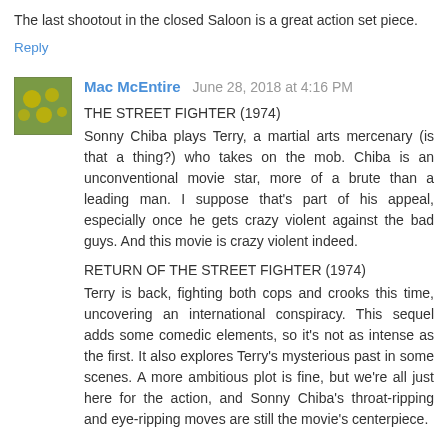The last shootout in the closed Saloon is a great action set piece.
Reply
Mac McEntire   June 28, 2018 at 4:16 PM
THE STREET FIGHTER (1974)
Sonny Chiba plays Terry, a martial arts mercenary (is that a thing?) who takes on the mob. Chiba is an unconventional movie star, more of a brute than a leading man. I suppose that's part of his appeal, especially once he gets crazy violent against the bad guys. And this movie is crazy violent indeed.
RETURN OF THE STREET FIGHTER (1974)
Terry is back, fighting both cops and crooks this time, uncovering an international conspiracy. This sequel adds some comedic elements, so it's not as intense as the first. It also explores Terry's mysterious past in some scenes. A more ambitious plot is fine, but we're all just here for the action, and Sonny Chiba's throat-ripping and eye-ripping moves are still the movie's centerpiece.